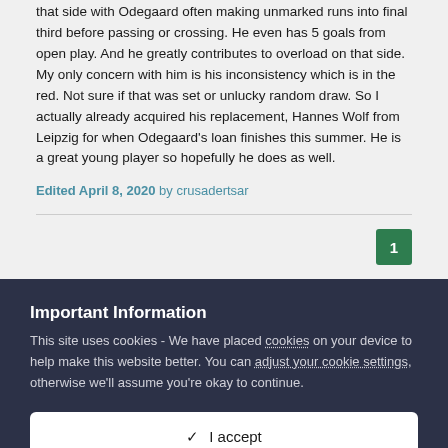that side with Odegaard often making unmarked runs into final third before passing or crossing. He even has 5 goals from open play. And he greatly contributes to overload on that side. My only concern with him is his inconsistency which is in the red. Not sure if that was set or unlucky random draw. So I actually already acquired his replacement, Hannes Wolf from Leipzig for when Odegaard's loan finishes this summer. He is a great young player so hopefully he does as well.
Edited April 8, 2020 by crusadertsar
1
Important Information
This site uses cookies - We have placed cookies on your device to help make this website better. You can adjust your cookie settings, otherwise we'll assume you're okay to continue.
I accept